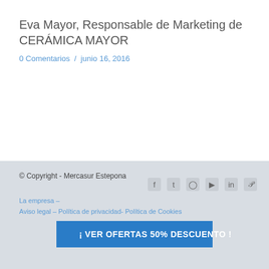Eva Mayor, Responsable de Marketing de CERÁMICA MAYOR
0 Comentarios  /  junio 16, 2016
© Copyright - Mercasur Estepona
La empresa –
Aviso legal – Política de privacidad- Política de Cookies
¡ VER OFERTAS 50% DESCUENTO !